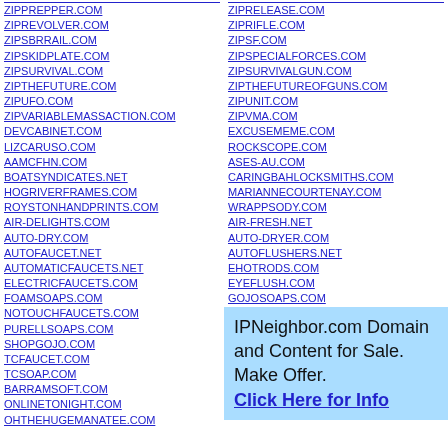ZIPPREPPER.COM
ZIPREVOLVER.COM
ZIPSBRRAIL.COM
ZIPSKIDPLATE.COM
ZIPSURVIVAL.COM
ZIPTHEFUTURE.COM
ZIPUFO.COM
ZIPVARIABLEMASSACTION.COM
DEVCABINET.COM
LIZCARUSO.COM
AAMCFHN.COM
BOATSYNDICATES.NET
HOGRIVERFRAMES.COM
ROYSTONHANDPRINTS.COM
AIR-DELIGHTS.COM
AUTO-DRY.COM
AUTOFAUCET.NET
AUTOMATICFAUCETS.NET
ELECTRICFAUCETS.COM
FOAMSOAPS.COM
NOTOUCHFAUCETS.COM
PURELLSOAPS.COM
SHOPGOJO.COM
TCFAUCET.COM
TCSOAP.COM
BARRAMSOFT.COM
ONLINETONIGHT.COM
OHTHEHUGEMANATEE.COM
ZIPRELEASE.COM
ZIPRIFLE.COM
ZIPSF.COM
ZIPSPECIALFORCES.COM
ZIPSURVIVALGUN.COM
ZIPTHEFUTUREOFGUNS.COM
ZIPUNIT.COM
ZIPVMA.COM
EXCUSEMEME.COM
ROCKSCOPE.COM
ASES-AU.COM
CARINGBAHLOCKSMITHS.COM
MARIANNECOURTENAY.COM
WRAPPSODY.COM
AIR-FRESH.NET
AUTO-DRYER.COM
AUTOFLUSHERS.NET
EHOTRODS.COM
EYEFLUSH.COM
GOJOSOAPS.COM
ONESHOTFOAM.COM
ROOM-DEODORIZERS.COM
SHOPZURN.COM
IPNeighbor.com Domain and Content for Sale. Make Offer. Click Here for Info